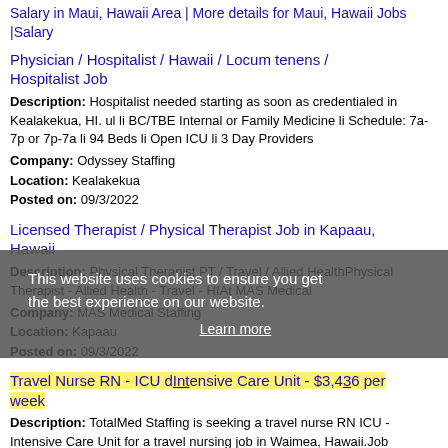Salary in Maui, Hawaii Area | More details for Maui, Hawaii Jobs |Salary
Physician / Hospitalist / Hawaii / Locum tenens / Hospitalist Job
Description: Hospitalist needed starting as soon as credentialed in Kealakekua, HI. ul li BC/TBE Internal or Family Medicine li Schedule: 7a-7p or 7p-7a li 94 Beds li Open ICU li 3 Day Providers Company: Odyssey Staffing Location: Kealakekua Posted on: 09/3/2022
Licensed Therapist / Physical Therapist Job in Kapaau, Hawaii
Description: Physical Therapist PT / Travel / Allied HealthPhysical Therapist - Allied Health - Travel - HIAt MAS Medical Company: MAS Medical Staffing Location: Kapaau Posted on: 09/3/2022
This website uses cookies to ensure you get the best experience on our website. Learn more
Travel Nurse RN - ICU dIntensive Care Unit - $3,436 per week
Description: TotalMed Staffing is seeking a travel nurse RN ICU - Intensive Care Unit for a travel nursing job in Waimea, Hawaii.Job